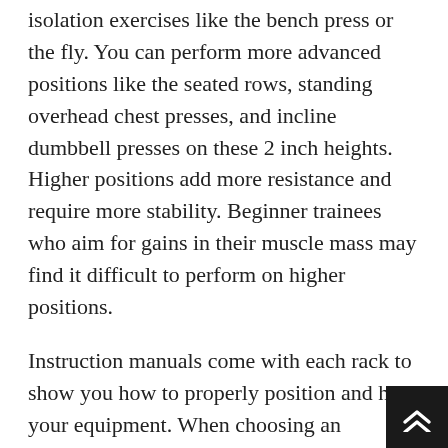isolation exercises like the bench press or the fly. You can perform more advanced positions like the seated rows, standing overhead chest presses, and incline dumbbell presses on these 2 inch heights. Higher positions add more resistance and require more stability. Beginner trainees who aim for gains in their muscle mass may find it difficult to perform on higher positions.
Instruction manuals come with each rack to show you how to properly position and hold your equipment. When choosing an instruction manual, choose one that shows you how to setup your rack and perform the exercises properly. If your rack is adjustable, you can choose from different heights positions and add accessories as you progress through your training. The manual should give you instructions for setting up and selecting accessories. Some models include an adjustable pulley system that allows you to change the level of your workouts